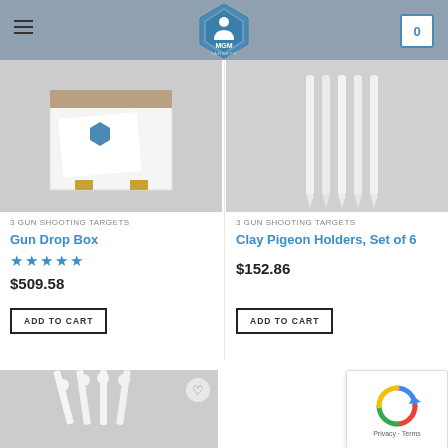[Figure (logo): MGM Targets logo — blue pentagon shield with white figure and MGM Targets text]
[Figure (photo): Gun Drop Box product image — white box with MGM Targets logo and brass hinges on gray background]
3 GUN SHOOTING TARGETS
Gun Drop Box
★★★★★
$509.58
ADD TO CART
[Figure (photo): Clay Pigeon Holders product image — set of white plastic stake holders on gray background]
3 GUN SHOOTING TARGETS
Clay Pigeon Holders, Set of 6
$152.86
ADD TO CART
[Figure (photo): Partial product image at bottom left — white targets on gray background]
[Figure (other): Google reCAPTCHA badge with Privacy and Terms links]